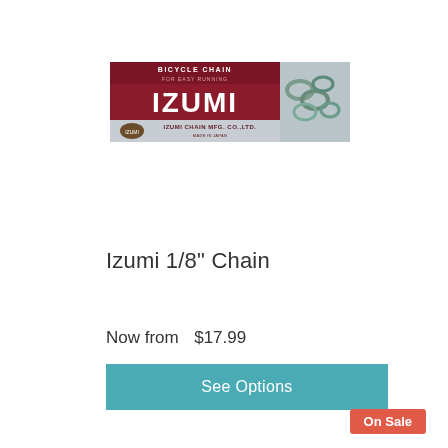[Figure (photo): Izumi bicycle chain product box/label. Dark red background with 'BICYCLE CHAIN FOR EASY RUNNING' text at top, 'IZUMI' in large bold letters, and 'IZUMI CHAIN MFG. CO., LTD. MADE IN JAPAN' at bottom. Right side shows a close-up of chain links on silvery background.]
Izumi 1/8" Chain
Now from  $17.99
See Options
On Sale